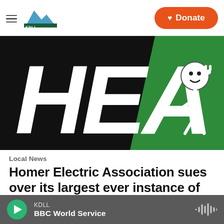KDLL — Homer Electric Association news page header with hamburger menu, logo, and Donate button
[Figure (logo): Homer Electric Association (HEA) logo: large white letters 'HEA' on black background with a green diagonal stripe and a cartoon electrical plug character on the right]
Local News
Homer Electric Association sues over its largest ever instance of power theft
Sabine Poux,  December 17, 2021
KDLL  BBC World Service